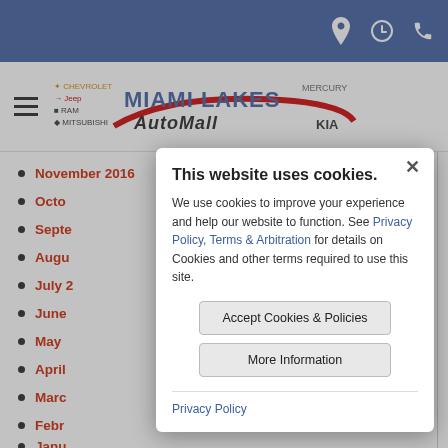Miami Lakes AutoMall website header with location, hours, and phone icons
[Figure (logo): Miami Lakes AutoMall logo with Chevrolet, Jeep, RAM, Mitsubishi, Mercury, Kia brand logos]
November 2016
October
September
August
July 2
June
May
April
March
February
January
This website uses cookies. We use cookies to improve your experience and help our website to function. See Privacy Policy, Terms & Arbitration for details on Cookies and other terms required to use this site.
Accept Cookies & Policies
More Information
Privacy Policy